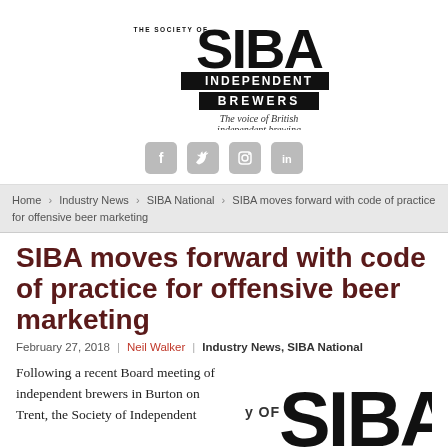[Figure (logo): SIBA - The Society of Independent Brewers logo with tagline 'The voice of British independent brewing']
[Figure (other): Social media icons: Facebook, Twitter, Instagram, LinkedIn]
Home > Industry News > SIBA National > SIBA moves forward with code of practice for offensive beer marketing
SIBA moves forward with code of practice for offensive beer marketing
February 27, 2018 | Neil Walker | Industry News, SIBA National
Following a recent Board meeting of independent brewers in Burton on Trent, the Society of Independent...
[Figure (logo): Partial SIBA logo showing 'y OF SIBA' text in large distressed font]